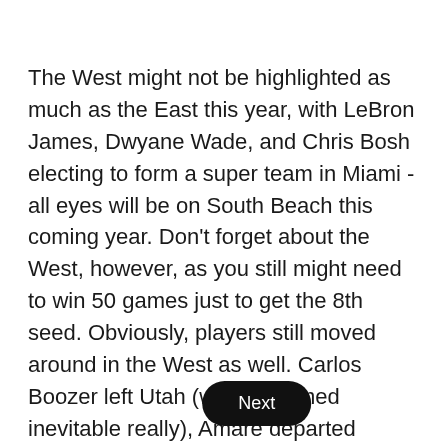The West might not be highlighted as much as the East this year, with LeBron James, Dwyane Wade, and Chris Bosh electing to form a super team in Miami - all eyes will be on South Beach this coming year. Don't forget about the West, however, as you still might need to win 50 games just to get the 8th seed. Obviously, players still moved around in the West as well. Carlos Boozer left Utah (which seemed inevitable really), Amare departed Phoenix, and Carmelo Anthony and Tony Parker might soon form their own super-team with Stoudemire out East with the New York Knicks. So, while the East was the main thing people focused on this past off-season, don't you dare overlook the West for a second. Here are the top 10 players in the Western